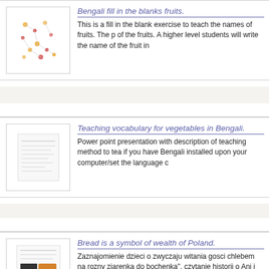[Figure (illustration): Thumbnail image showing scattered colored dots/fruits on white background]
Bengali fill in the blanks fruits.
This is a fill in the blank exercise to teach the names of fruits. The p of the fruits. A higher level students will write the name of the fruit in
[Figure (illustration): Thumbnail image showing a document/worksheet with text lines]
Teaching vocabulary for vegetables in Bengali.
Power point presentation with description of teaching method to tea if you have Bengali installed upon your computer/set the language c
[Figure (illustration): Thumbnail image showing a document with bread/food image]
Bread is a symbol of wealth of Poland.
Zaznajomienie dzieci o zwyczaju witania gosci chlebem na rozny ziarenka do bochenka", czytanie historii o Ani i Misiu Uszatku-rozma